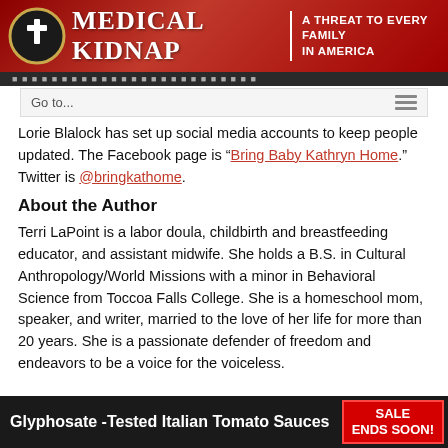[Figure (logo): Medical Kidnap website header banner — red gradient background with a cross logo, bold title 'MEDICAL KIDNAP' and tagline 'A THREAT TO EVERY FAMILY IN AMERICA']
[Figure (screenshot): Navigation bar with 'Go to...' dropdown and hamburger menu lines icon]
Lorie Blalock has set up social media accounts to keep people updated. The Facebook page is “Bring Baby Kathryn Home.” Twitter is @bringkathome.
About the Author
Terri LaPoint is a labor doula, childbirth and breastfeeding educator, and assistant midwife. She holds a B.S. in Cultural Anthropology/World Missions with a minor in Behavioral Science from Toccoa Falls College. She is a homeschool mom, speaker, and writer, married to the love of her life for more than 20 years. She is a passionate defender of freedom and endeavors to be a voice for the voiceless.
[Figure (screenshot): Advertisement banner: 'Glyphosate-Tested Italian Tomato Sauces' with a red SALE ENDS SOON badge]